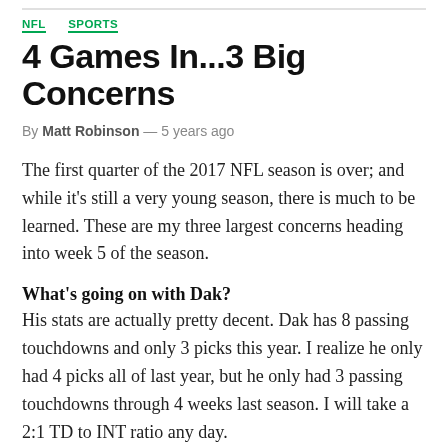NFL  SPORTS
4 Games In...3 Big Concerns
By Matt Robinson — 5 years ago
The first quarter of the 2017 NFL season is over; and while it's still a very young season, there is much to be learned. These are my three largest concerns heading into week 5 of the season.
What's going on with Dak?
His stats are actually pretty decent. Dak has 8 passing touchdowns and only 3 picks this year. I realize he only had 4 picks all of last year, but he only had 3 passing touchdowns through 4 weeks last season. I will take a 2:1 TD to INT ratio any day.
But something isn't right. And his numbers…